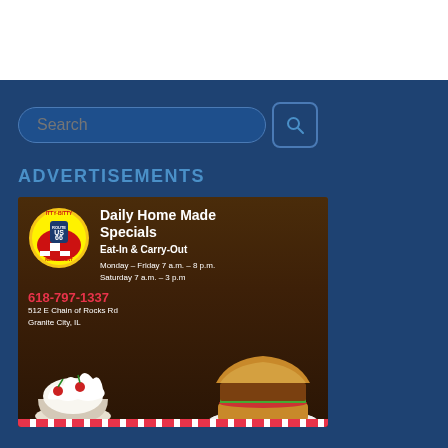ADVERTISEMENTS
[Figure (photo): Itty-Bitty Route 66 Restaurant advertisement showing logo, text 'Daily Home Made Specials Eat-In & Carry-Out', hours Monday-Friday 7 a.m. - 8 p.m. Saturday 7 a.m. - 3 p.m., phone 618-797-1337, address 512 E Chain of Rocks Rd, Granite City, IL, with food photos of a sandwich and a dessert bowl]
Daily Home Made Specials Eat-In & Carry-Out
Monday – Friday 7 a.m. – 8 p.m. Saturday 7 a.m. – 3 p.m
618-797-1337
512 E Chain of Rocks Rd Granite City, IL